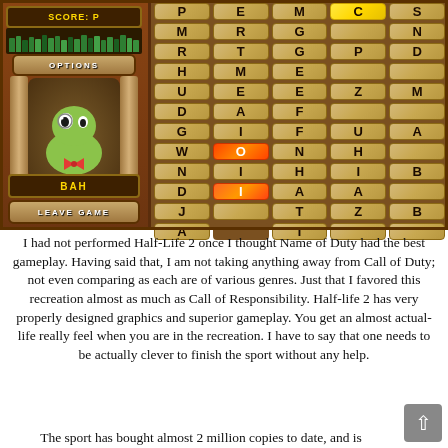[Figure (screenshot): Screenshot of a word puzzle mobile game with a left panel showing a green worm character named 'BAH', score display, OPTIONS and LEAVE GAME buttons, and a right grid of letter tiles including a yellow highlighted 'C' tile and fire-highlighted 'O' and 'I' tiles.]
I had not performed Half-Life 2 once I thought Name of Duty had the best gameplay. Having said that, I am not taking anything away from Call of Duty; not even comparing as each are of various genres. Just that I favored this recreation almost as much as Call of Responsibility. Half-life 2 has very properly designed graphics and superior gameplay. You get an almost actual-life really feel when you are in the recreation. I have to say that one needs to be actually clever to finish the sport without any help.
The sport has bought almost 2 million copies to date, and is